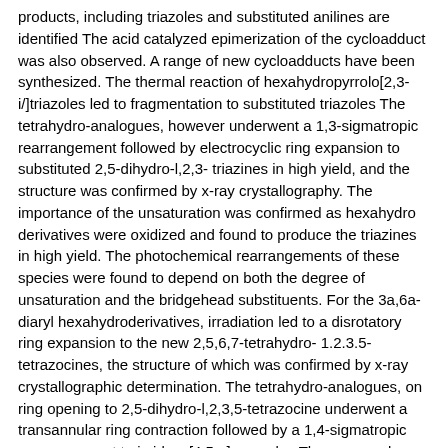products, including triazoles and substituted anilines are identified The acid catalyzed epimerization of the cycloadduct was also observed. A range of new cycloadducts have been synthesized. The thermal reaction of hexahydropyrrolo[2,3-i/]triazoles led to fragmentation to substituted triazoles The tetrahydro-analogues, however underwent a 1,3-sigmatropic rearrangement followed by electrocyclic ring expansion to substituted 2,5-dihydro-l,2,3- triazines in high yield, and the structure was confirmed by x-ray crystallography. The importance of the unsaturation was confirmed as hexahydro derivatives were oxidized and found to produce the triazines in high yield. The photochemical rearrangements of these species were found to depend on both the degree of unsaturation and the bridgehead substituents. For the 3a,6a-diaryl hexahydroderivatives, irradiation led to a disrotatory ring expansion to the new 2,5,6,7-tetrahydro- 1.2.3.5-tetrazocines, the structure of which was confirmed by x-ray crystallographic determination. The tetrahydro-analogues, on ring opening to 2,5-dihydro-l,2,3,5-tetrazocine underwent a transannular ring contraction followed by a 1,4-sigmatropic rearrangement to imidazo[4,5-c]pyrazoles The proposed intermediacy of 2,5-dihydro- 1.2.3.5-tetrazocine in the rearrangement of 3a,6a,-diaryl tetrahydropyrrolotriazoles was confirmed. Irradiation of 3a,6a-dimethyl hexahydropyrrolo[2,3-i/] 1,2,3-triazole led to pyrrolo[3,2- 6 ]indole via a complex series of sequential